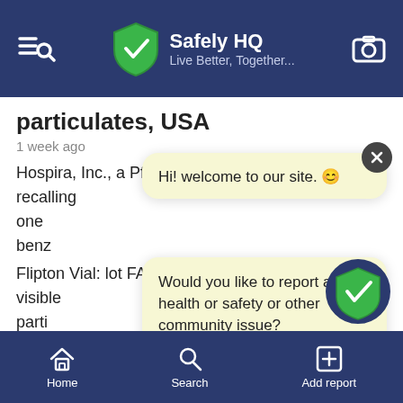Safely HQ — Live Better, Together...
particulates, USA
1 week ago
Hospira, Inc., a Pfizer company, is voluntarily recalling one ... benz... Flipton Vial: lot FA7470, to the user level due to visible parti... exam...
See
#drug...
Hi! welcome to our site. 😊
Would you like to report a health or safety or other community issue?
[Figure (screenshot): Gray photo strip at the bottom of the article]
Home   Search   Add report